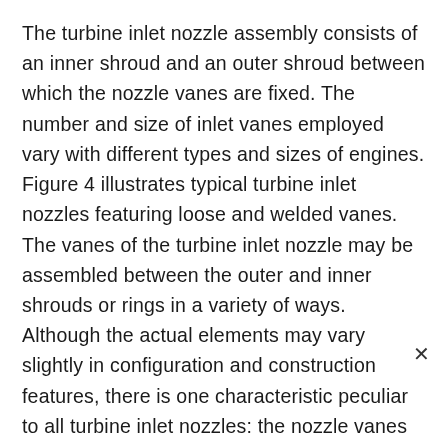The turbine inlet nozzle assembly consists of an inner shroud and an outer shroud between which the nozzle vanes are fixed. The number and size of inlet vanes employed vary with different types and sizes of engines. Figure 4 illustrates typical turbine inlet nozzles featuring loose and welded vanes. The vanes of the turbine inlet nozzle may be assembled between the outer and inner shrouds or rings in a variety of ways. Although the actual elements may vary slightly in configuration and construction features, there is one characteristic peculiar to all turbine inlet nozzles: the nozzle vanes must be constructed to allow thermal expansion. Otherwise